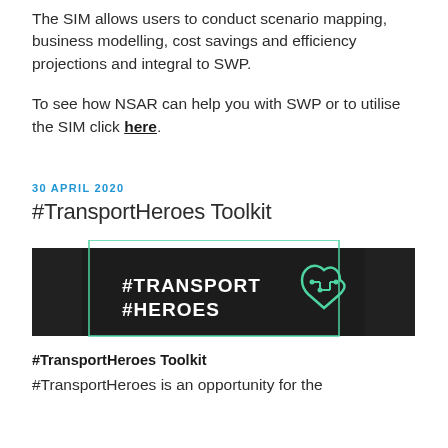The SIM allows users to conduct scenario mapping, business modelling, cost savings and efficiency projections and integral to SWP.
To see how NSAR can help you with SWP or to utilise the SIM click here.
30 APRIL 2020
#TransportHeroes Toolkit
[Figure (logo): Black banner with #TRANSPORT #HEROES text in white bold font and a green circuit-heart logo on the right, with a teal/green rectangle border overlay.]
#TransportHeroes Toolkit
#TransportHeroes is an opportunity for the